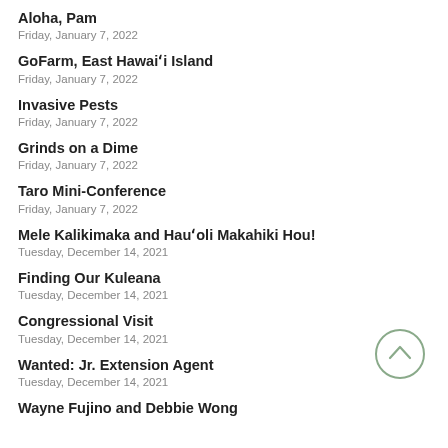Aloha, Pam
Friday, January 7, 2022
GoFarm, East Hawaiʻi Island
Friday, January 7, 2022
Invasive Pests
Friday, January 7, 2022
Grinds on a Dime
Friday, January 7, 2022
Taro Mini-Conference
Friday, January 7, 2022
Mele Kalikimaka and Hauʻoli Makahiki Hou!
Tuesday, December 14, 2021
Finding Our Kuleana
Tuesday, December 14, 2021
Congressional Visit
Tuesday, December 14, 2021
Wanted: Jr. Extension Agent
Tuesday, December 14, 2021
Wayne Fujino and Debbie Wong
[Figure (illustration): Back to top button — a circle with an upward chevron arrow inside, in muted sage green color]